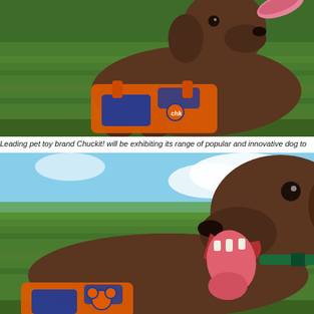[Figure (photo): A chocolate Labrador dog lying on green grass, wearing an orange and blue Chuckit! dog toy vest/blanket, with a pink frisbee or toy in its mouth. The dog looks playful and the background shows lush green grass.]
Leading pet toy brand Chuckit! will be exhibiting its range of popular and innovative dog to
[Figure (photo): A chocolate Labrador dog lying on green grass with a blue sky and clouds in the background, mouth open and tongue hanging out, wearing an orange and blue Chuckit! dog toy. The dog appears happy and is looking to the side.]